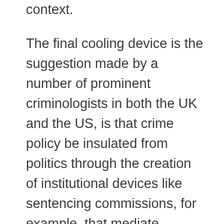context.
The final cooling device is the suggestion made by a number of prominent criminologists in both the UK and the US, is that crime policy be insulated from politics through the creation of institutional devices like sentencing commissions, for example, that mediate between politics and policy. The analogy that has been drawn by my colleague Franklin Zimring, is to the role of central banks in insulating monetary policy from populist political demands. Here Loader and Sparks applaud the attention to the role of institutions (which perceives the